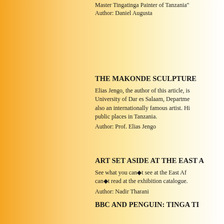Master Tingatinga Painter of Tanzania"
Author: Daniel Augusta
THE MAKONDE SCULPTURE
Elias Jengo, the author of this article, is University of Dar es Salaam, Departme also an internationally famous artist. Hi public places in Tanzania.
Author: Prof. Elias Jengo
ART SET ASIDE AT THE EAST A
See what you can◆t see at the East Af can◆t read at the exhibition catalogue.
Author: Nadir Tharani
BBC AND PENGUIN: TINGA TI